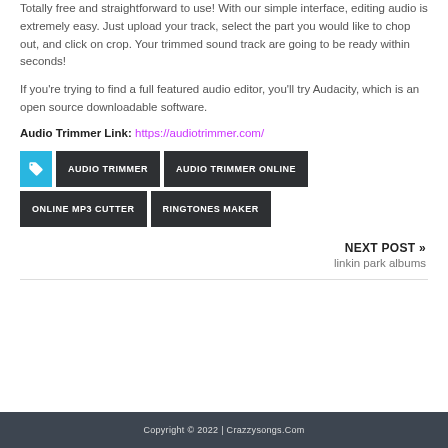Totally free and straightforward to use! With our simple interface, editing audio is extremely easy. Just upload your track, select the part you would like to chop out, and click on crop. Your trimmed sound track are going to be ready within seconds!
If you're trying to find a full featured audio editor, you'll try Audacity, which is an open source downloadable software.
Audio Trimmer Link: https://audiotrimmer.com/
AUDIO TRIMMER
AUDIO TRIMMER ONLINE
ONLINE MP3 CUTTER
RINGTONES MAKER
NEXT POST » linkin park albums
Copyright © 2022 | Crazzysongs.Com